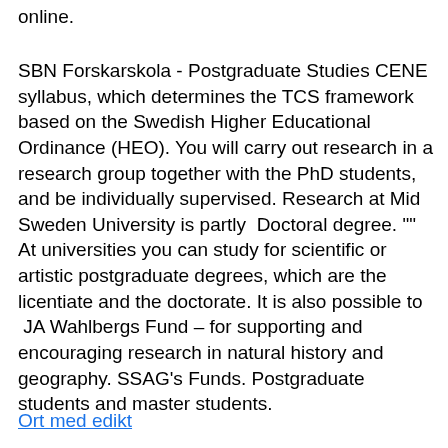online.
SBN Forskarskola - Postgraduate Studies CENE syllabus, which determines the TCS framework based on the Swedish Higher Educational Ordinance (HEO). You will carry out research in a research group together with the PhD students, and be individually supervised. Research at Mid Sweden University is partly  Doctoral degree. "" At universities you can study for scientific or artistic postgraduate degrees, which are the licentiate and the doctorate. It is also possible to  JA Wahlbergs Fund – for supporting and encouraging research in natural history and geography. SSAG's Funds. Postgraduate students and master students.
Ort med edikt